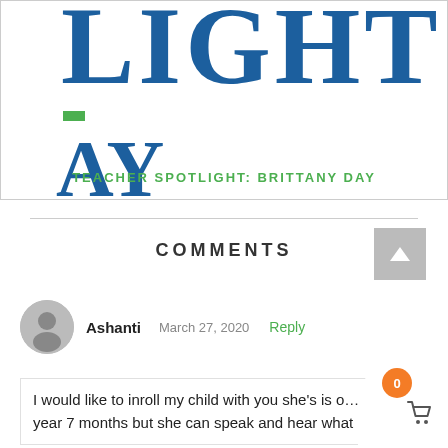[Figure (illustration): Partial banner image showing large blue serif letters 'LIGHT' at top, a green dash, large blue letters 'AY', and the text 'TEACHER SPOTLIGHT: BRITTANY DAY' in green capitals at bottom of the banner card.]
TEACHER SPOTLIGHT: BRITTANY DAY
COMMENTS
Ashanti   March 27, 2020   Reply
I would like to inroll my child with you she's is o... year 7 months but she can speak and hear what